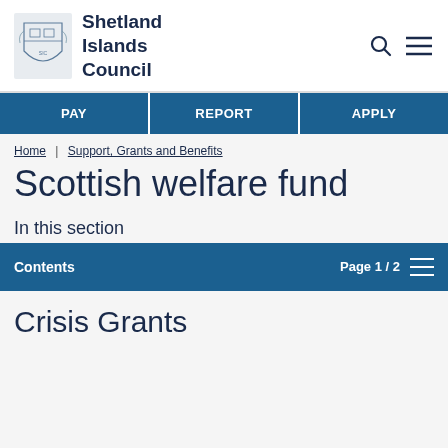Shetland Islands Council
PAY | REPORT | APPLY
Home | Support, Grants and Benefits
Scottish welfare fund
In this section
Contents  Page 1 / 2
Crisis Grants